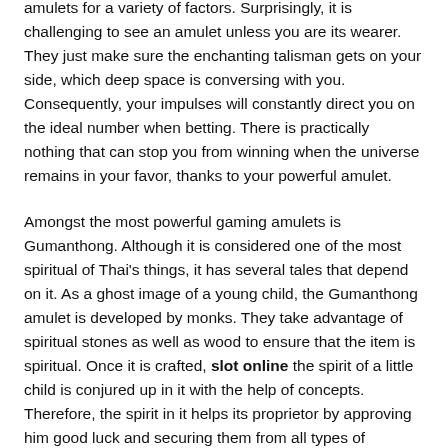amulets for a variety of factors. Surprisingly, it is challenging to see an amulet unless you are its wearer. They just make sure the enchanting talisman gets on your side, which deep space is conversing with you. Consequently, your impulses will constantly direct you on the ideal number when betting. There is practically nothing that can stop you from winning when the universe remains in your favor, thanks to your powerful amulet.
Amongst the most powerful gaming amulets is Gumanthong. Although it is considered one of the most spiritual of Thai's things, it has several tales that depend on it. As a ghost image of a young child, the Gumanthong amulet is developed by monks. They take advantage of spiritual stones as well as wood to ensure that the item is spiritual. Once it is crafted, slot online the spirit of a little child is conjured up in it with the help of concepts. Therefore, the spirit in it helps its proprietor by approving him good luck and securing them from all types of wickedness.